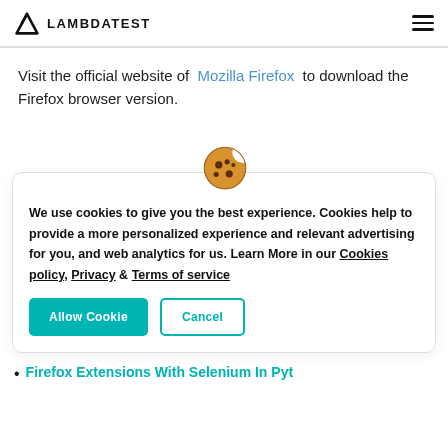LAMBDATEST
Visit the official website of Mozilla Firefox to download the Firefox browser version.
[Figure (illustration): Cookie emoji icon above a cookie consent dialog box]
We use cookies to give you the best experience. Cookies help to provide a more personalized experience and relevant advertising for you, and web analytics for us. Learn More in our Cookies policy, Privacy & Terms of service
Firefox Extensions With Selenium In Pyt